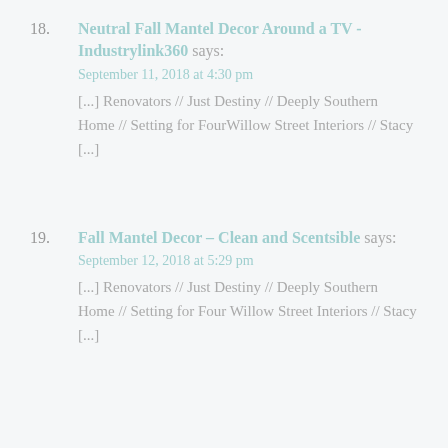18. Neutral Fall Mantel Decor Around a TV - Industrylink360 says: September 11, 2018 at 4:30 pm [...] Renovators // Just Destiny // Deeply Southern Home // Setting for FourWillow Street Interiors // Stacy [...]
19. Fall Mantel Decor - Clean and Scentsible says: September 12, 2018 at 5:29 pm [...] Renovators // Just Destiny // Deeply Southern Home // Setting for Four Willow Street Interiors // Stacy [...]